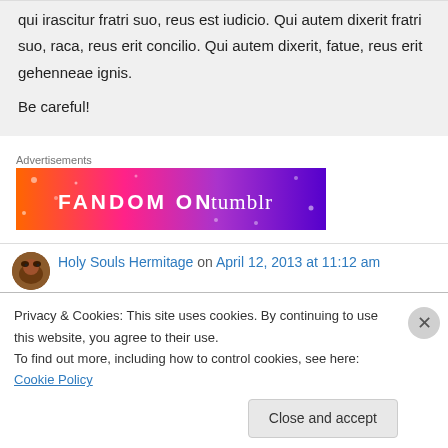qui irascitur fratri suo, reus est iudicio. Qui autem dixerit fratri suo, raca, reus erit concilio. Qui autem dixerit, fatue, reus erit gehenneae ignis.
Be careful!
Advertisements
[Figure (illustration): Fandom on Tumblr advertisement banner with colorful orange-to-purple gradient background and white text]
Holy Souls Hermitage on April 12, 2013 at 11:12 am
Privacy & Cookies: This site uses cookies. By continuing to use this website, you agree to their use.
To find out more, including how to control cookies, see here: Cookie Policy
Close and accept